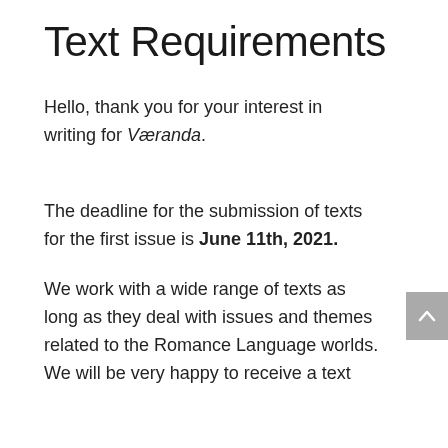Text Requirements
Hello, thank you for your interest in writing for Væranda.
The deadline for the submission of texts for the first issue is June 11th, 2021.
We work with a wide range of texts as long as they deal with issues and themes related to the Romance Language worlds. We will be very happy to receive a text